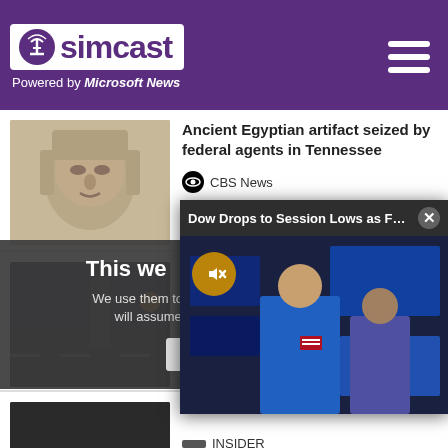simcast — Powered by Microsoft News
Ancient Egyptian artifact seized by federal agents in Tennessee — CBS News
Update: New information arises about deputy involved in crash — The Signal
Dow Drops to Session Lows as Fed Chai... [video popup]
This we... [cookie popup] We use them to give you the be... will assume that you are...
INSIDER
Police: Arrest made in string of robberies that left officer with fractured skull — News 12